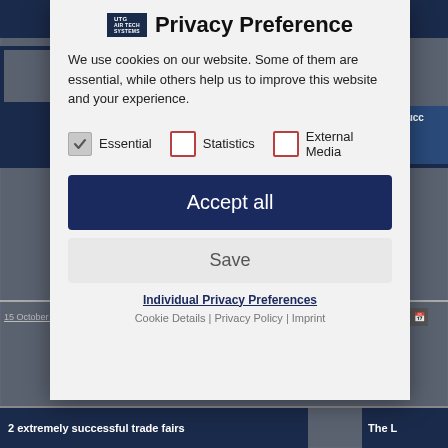[Figure (screenshot): Background website page with dark navy header and article content, dimmed behind a modal overlay]
Privacy Preference
We use cookies on our website. Some of them are essential, while others help us to improve this website and your experience.
Essential (checked)
Statistics (unchecked)
External Media (unchecked)
Accept all
Save
Individual Privacy Preferences
Cookie Details | Privacy Policy | Imprint